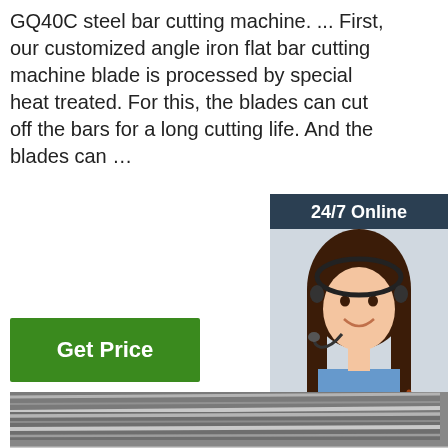GQ40C steel bar cutting machine. ... First, our customized angle iron flat bar cutting machine blade is processed by special heat treated. For this, the blades can cut off the bars for a long cutting life. And the blades can …
[Figure (other): Green 'Get Price' button]
[Figure (other): Sidebar with '24/7 Online' header, customer service representative photo, 'Click here for free chat!' text, orange QUOTATION button, and TOP icon]
[Figure (photo): Close-up photo of coiled steel bars/rods showing metallic texture with parallel lines]